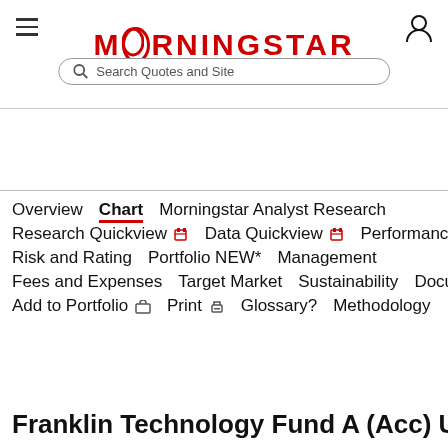MORNINGSTAR
Overview  Chart  Morningstar Analyst Research  Research Quickview  Data Quickview  Performance  Risk and Rating  Portfolio NEW*  Management  Fees and Expenses  Target Market  Sustainability  Documents  Add to Portfolio  Print  Glossary?  Methodology
Franklin Technology Fund A (Acc) USD